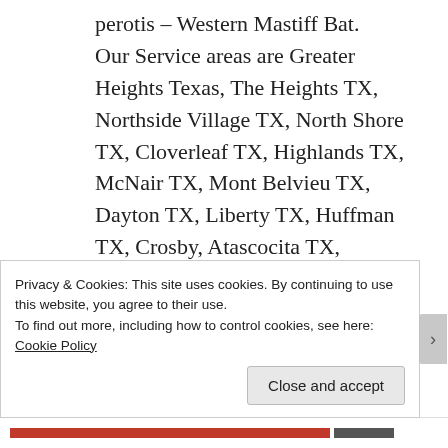perotis – Western Mastiff Bat. Our Service areas are Greater Heights Texas, The Heights TX, Northside Village TX, North Shore TX, Cloverleaf TX, Highlands TX, McNair TX, Mont Belvieu TX, Dayton TX, Liberty TX, Huffman TX, Crosby, Atascocita TX, Kingwood TX, Humble TX, Mt. Houston TX, Aldine TX, Westfield
Privacy & Cookies: This site uses cookies. By continuing to use this website, you agree to their use.
To find out more, including how to control cookies, see here: Cookie Policy